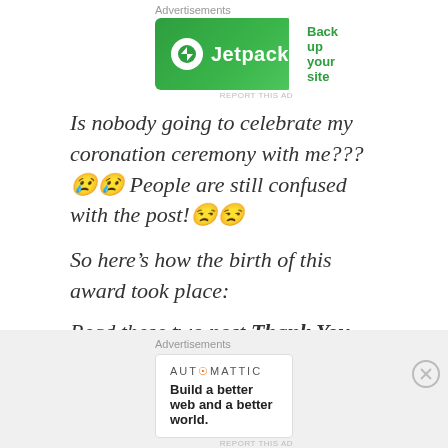Advertisements
[Figure (other): Jetpack advertisement banner with green background, Jetpack logo on left and 'Back up your site' button on right]
REPORT THIS AD
Is nobody going to celebrate my coronation ceremony with me???😢😢 People are still confused with the post!😒😒
So here's how the birth of this award took place:
Read these two post Thank You For All The Love, Goodbye! and then, My Final Post As A Blogger
Advertisements
[Figure (other): Automattic advertisement banner with logo and tagline 'Build a better web and a better world.']
REPORT THIS AD